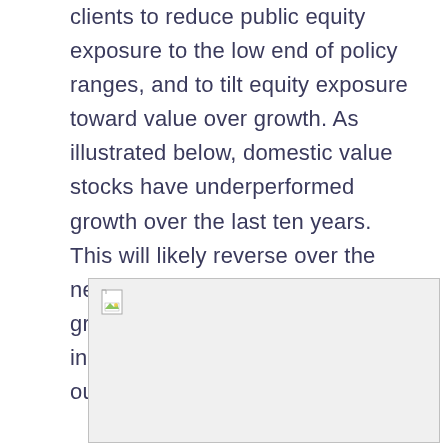clients to reduce public equity exposure to the low end of policy ranges, and to tilt equity exposure toward value over growth. As illustrated below, domestic value stocks have underperformed growth over the last ten years. This will likely reverse over the next phase of the market cycle, as growth stocks tend to outperform in bull markets, while value outperforms in bear markets.
[Figure (other): Placeholder image box with broken image icon, representing a chart or figure that could not be rendered.]